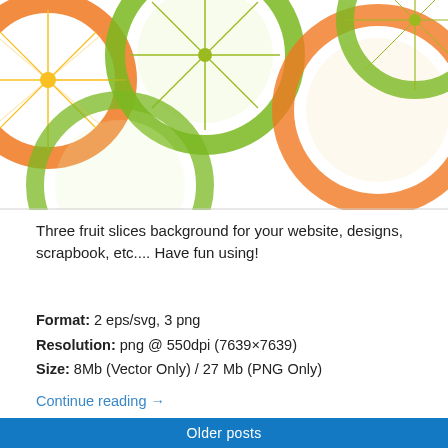[Figure (illustration): Colorful citrus fruit slices background illustration with orange and green lime slices on white background]
Three fruit slices background for your website, designs, scrapbook, etc.... Have fun using!
Format: 2 eps/svg, 3 png
Resolution: png @ 550dpi (7639×7639)
Size: 8Mb (Vector Only) / 27 Mb (PNG Only)
Continue reading →
August 18, 2009
7 Replies
Older posts